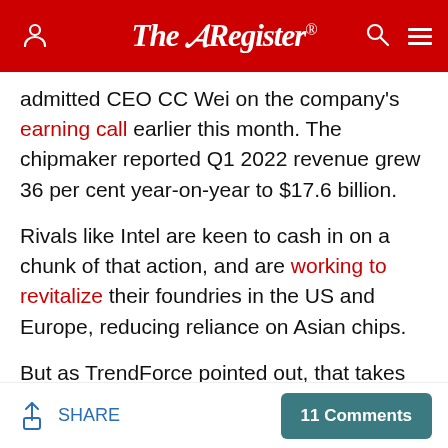The Register®
admitted CEO CC Wei on the company's earning call earlier this month. The chipmaker reported Q1 2022 revenue grew 36 per cent year-on-year to $17.6 billion.
Rivals like Intel are keen to cash in on a chunk of that action, and are working to revitalize their foundries in the US and Europe, reducing reliance on Asian chips.
But as TrendForce pointed out, that takes time – and Taiwan's chipmakers are ready to roll. ®
Whitepaper: Top 5 Tips For Navigating Your SASE Journey
SHARE
11 Comments